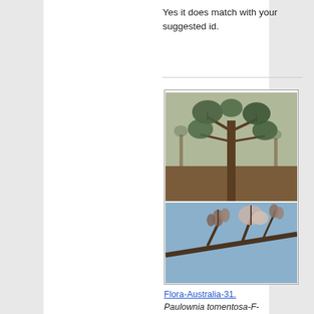Yes it does match with your suggested id.
[Figure (photo): Two botanical photos of Paulownia tomentosa: top photo shows a young sapling with large heart-shaped leaves against a background of sparse trees and leaf-littered ground; bottom photo shows close-up of flowers/seed pods on a branch against a blue sky.]
Flora-Australia-31. Paulownia tomentosa-F-Scrophulariaceae. deciduous tree- grown upto 50 feet